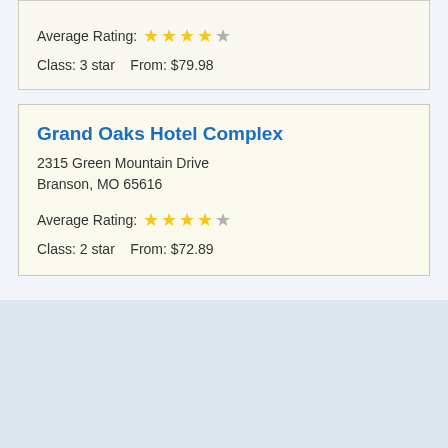Average Rating: ★ ★ ★ ★ ☆
Class: 3 star   From: $79.98
Grand Oaks Hotel Complex
2315 Green Mountain Drive
Branson, MO 65616
Average Rating: ★ ★ ★ ★ ☆
Class: 2 star   From: $72.89